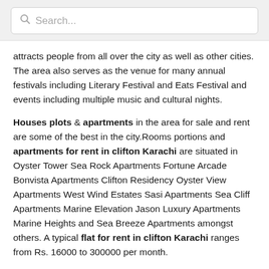[Figure (screenshot): Search bar with placeholder text 'Search...' and magnifying glass icon]
attracts people from all over the city as well as other cities. The area also serves as the venue for many annual festivals including Literary Festival and Eats Festival and events including multiple music and cultural nights.
Houses plots & apartments in the area for sale and rent are some of the best in the city.Rooms portions and apartments for rent in clifton Karachi are situated in Oyster Tower Sea Rock Apartments Fortune Arcade Bonvista Apartments Clifton Residency Oyster View Apartments West Wind Estates Sasi Apartments Sea Cliff Apartments Marine Elevation Jason Luxury Apartments Marine Heights and Sea Breeze Apartments amongst others. A typical flat for rent in clifton Karachi ranges from Rs. 16000 to 300000 per month.
Best Features of Flats in Karachi Clifton:
Ideal view of the sea